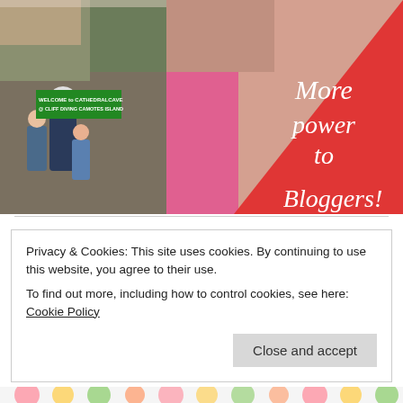[Figure (photo): Collage of two photos: left shows people at Cathedral Cave cliff diving sign at Camotes Island, right shows a woman holding a drink glass with a red triangular overlay containing cursive white text 'More power to Bloggers']
Privacy & Cookies: This site uses cookies. By continuing to use this website, you agree to their use.
To find out more, including how to control cookies, see here: Cookie Policy
Close and accept